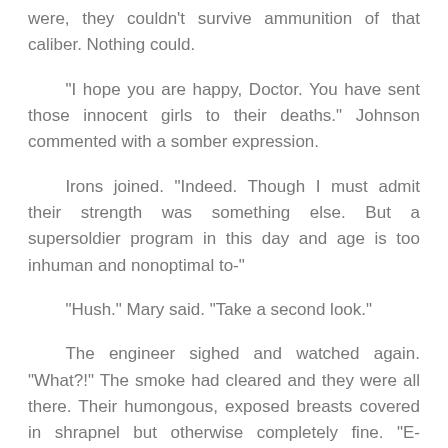were, they couldn't survive ammunition of that caliber. Nothing could.
“I hope you are happy, Doctor. You have sent those innocent girls to their deaths.” Johnson commented with a somber expression.
Irons joined. “Indeed. Though I must admit their strength was something else. But a supersoldier program in this day and age is too inhuman and nonoptimal to-”
“Hush.” Mary said. “Take a second look.”
The engineer sighed and watched again. “What?!” The smoke had cleared and they were all there. Their humongous, exposed breasts covered in shrapnel but otherwise completely fine. “E-Explain this…my tanks wouldn’t miss at that distance and they can’t be invulnerable. This must be a trick!”